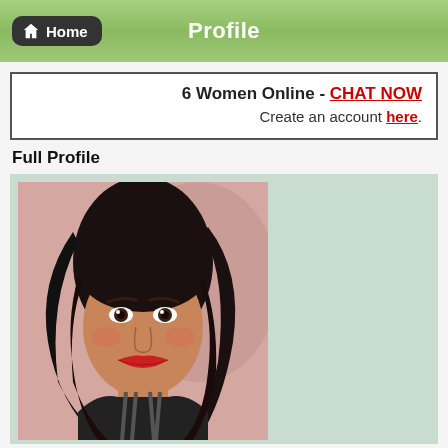Home  Profile
6 Women Online - CHAT NOW
Create an account here.
Full Profile
[Figure (photo): Profile photo of a young woman with long dark hair, wearing a black top, posing against a pinkish background]